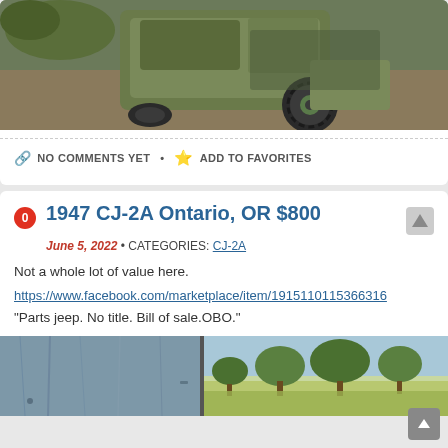[Figure (photo): Overhead/angled view of a military green vintage Jeep (CJ-2A) on a dirt/gravel surface, partially visible from above showing the rear and wheel.]
NO COMMENTS YET • ADD TO FAVORITES
1947 CJ-2A Ontario, OR $800
June 5, 2022 • CATEGORIES: CJ-2A
Not a whole lot of value here.
https://www.facebook.com/marketplace/item/19151101153663​16
“Parts jeep. No title. Bill of sale.OBO.”
[Figure (photo): Partial photo of a vintage Jeep in a field/outdoor setting, showing blue/weathered metal body panel on left and outdoor landscape with trees on right.]